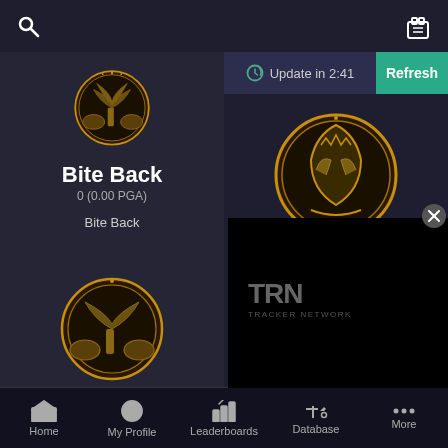[Figure (screenshot): Mobile app screenshot showing a leaderboard/tracker app (TRN - Tracker Network) with dark theme. Two columns showing game achievements: left column shows 'Bite Back' badge with 0 (0.00 PGA) score, right column shows 'Fifth Horseman' badge with 0 (0.00 PGA) score. A notification bar shows 'Update in 2:41' with a 'Refresh' button. Bottom navigation bar with Home, My Profile, Leaderboards, Database, More tabs. An ad overlay shows the TRN Tracker Network logo.]